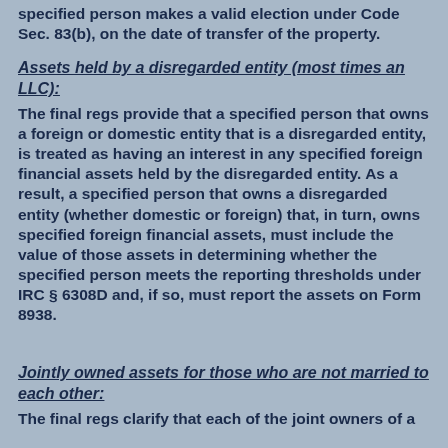specified person makes a valid election under Code Sec. 83(b), on the date of transfer of the property.
Assets held by a disregarded entity (most times an LLC):
The final regs provide that a specified person that owns a foreign or domestic entity that is a disregarded entity, is treated as having an interest in any specified foreign financial assets held by the disregarded entity. As a result, a specified person that owns a disregarded entity (whether domestic or foreign) that, in turn, owns specified foreign financial assets, must include the value of those assets in determining whether the specified person meets the reporting thresholds under IRC § 6308D and, if so, must report the assets on Form 8938.
Jointly owned assets for those who are not married to each other:
The final regs clarify that each of the joint owners of a